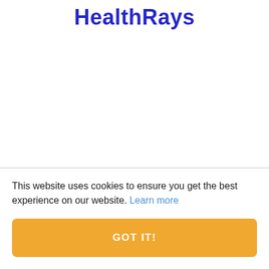HealthRays
This website uses cookies to ensure you get the best experience on our website. Learn more
GOT IT!